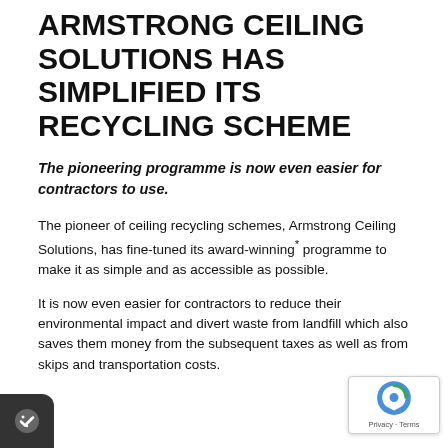ARMSTRONG CEILING SOLUTIONS HAS SIMPLIFIED ITS RECYCLING SCHEME
The pioneering programme is now even easier for contractors to use.
The pioneer of ceiling recycling schemes, Armstrong Ceiling Solutions, has fine-tuned its award-winning* programme to make it as simple and as accessible as possible.
It is now even easier for contractors to reduce their environmental impact and divert waste from landfill which also saves them money from the subsequent taxes as well as from skips and transportation costs.